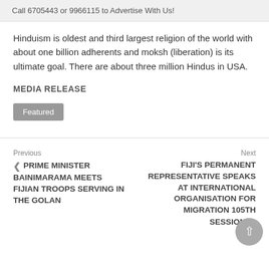Call 6705443 or 9966115 to Advertise With Us!
Hinduism is oldest and third largest religion of the world with about one billion adherents and moksh (liberation) is its ultimate goal. There are about three million Hindus in USA.
MEDIA RELEASE
Featured
Previous
PRIME MINISTER BAINIMARAMA MEETS FIJIAN TROOPS SERVING IN THE GOLAN
Next
FIJI'S PERMANENT REPRESENTATIVE SPEAKS AT INTERNATIONAL ORGANISATION FOR MIGRATION 105TH SESSION